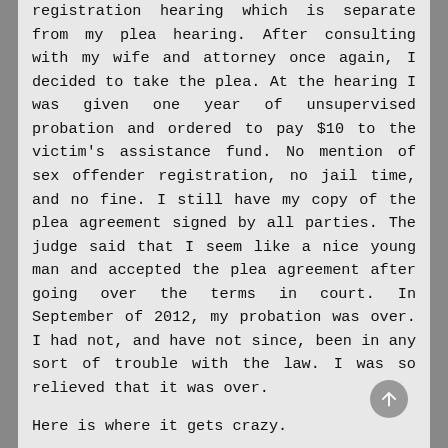registration hearing which is separate from my plea hearing. After consulting with my wife and attorney once again, I decided to take the plea. At the hearing I was given one year of unsupervised probation and ordered to pay $10 to the victim's assistance fund. No mention of sex offender registration, no jail time, and no fine. I still have my copy of the plea agreement signed by all parties. The judge said that I seem like a nice young man and accepted the plea agreement after going over the terms in court. In September of 2012, my probation was over. I had not, and have not since, been in any sort of trouble with the law. I was so relieved that it was over.
Here is where it gets crazy.
In January of 2013, four months after my probation was over, and 16 months since the plea hearing, I received a certified letter from the WV State Police stating that I had to register as a sex offender for life. I immediately contacted my attorney. Also one of the accusers and her mom came to me and said that they tried to get it changed but the